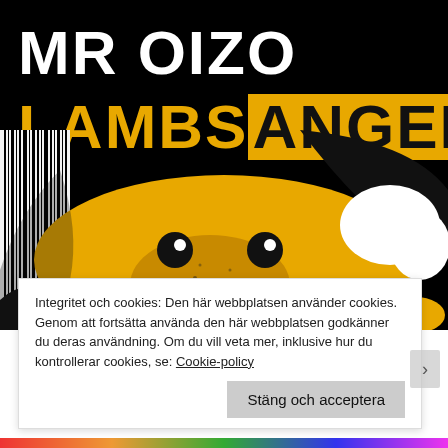[Figure (illustration): Album cover art for Mr Oizo - Lambs Anger. Black background with large white text 'MR OIZO' and yellow text 'LAMBS' followed by 'ANGER' on yellow background. A stylized yellow and black illustration of a lamb/flat beat toy face dominates the lower portion.]
Integritet och cookies: Den här webbplatsen använder cookies. Genom att fortsätta använda den här webbplatsen godkänner du deras användning. Om du vill veta mer, inklusive hur du kontrollerar cookies, se: Cookie-policy
Stäng och acceptera